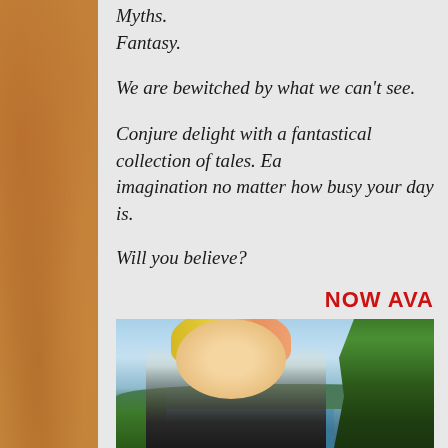Myths.
Fantasy.
We are bewitched by what we can't see.
Conjure delight with a fantastical collection of tales. Ea... imagination no matter how busy your day is.
Will you believe?
NOW AVA...
[Figure (photo): A smiling woman with short blonde and pink hair wearing glasses, photographed outdoors near a lake with trees and hills in the background.]